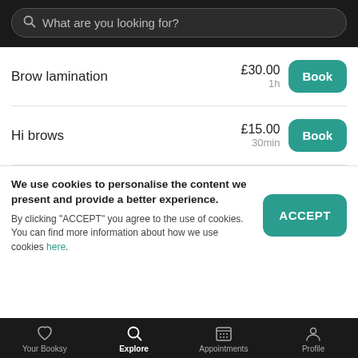What are you looking for?
Brow lamination · £30.00 · 1h
Hi brows · £15.00 · 30min
We use cookies to personalise the content we present and provide a better experience. By clicking "ACCEPT" you agree to the use of cookies. You can find more information about how we use cookies here.
Your Booksy  Explore  Appointments  Profile